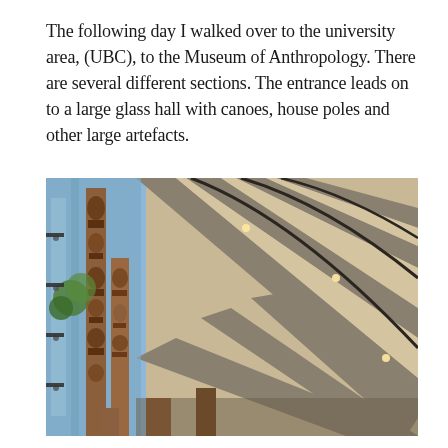The following day I walked over to the university area, (UBC), to the Museum of Anthropology. There are several different sections. The entrance leads on to a large glass hall with canoes, house poles and other large artefacts.
[Figure (photo): Exterior photo taken from below looking up at the Museum of Anthropology at UBC. The image shows the concrete architectural structure of the building with slanted beams and glass panels revealing the sky. On the left side, tall carved wooden totem poles are visible against a blue sky with trees in the background.]